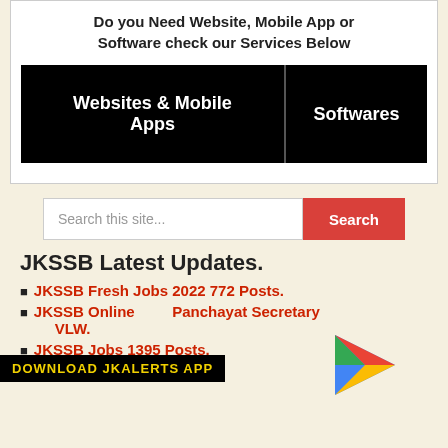Do you Need Website, Mobile App or Software check our Services Below
| Websites & Mobile Apps | Softwares |
| --- | --- |
[Figure (screenshot): Search bar with text 'Search this site...' and a red Search button]
JKSSB Latest Updates.
JKSSB Fresh Jobs 2022 772 Posts.
JKSSB Online Panchayat Secretary VLW.
JKSSB Jobs 1395 Posts.
[Figure (logo): Download JKALERTS APP banner with Google Play logo]